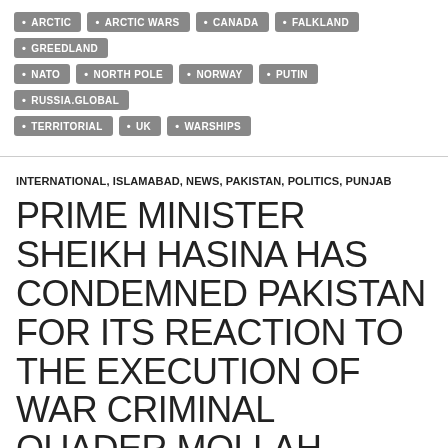ARCTIC
ARCTIC WARS
CANADA
FALKLAND
GREEDLAND
NATO
NORTH POLE
NORWAY
PUTIN
RUSSIA.GLOBAL
TERRITORIAL
UK
WARSHIPS
INTERNATIONAL, ISLAMABAD, NEWS, PAKISTAN, POLITICS, PUNJAB
PRIME MINISTER SHEIKH HASINA HAS CONDEMNED PAKISTAN FOR ITS REACTION TO THE EXECUTION OF WAR CRIMINAL QUADER MOLLAH.